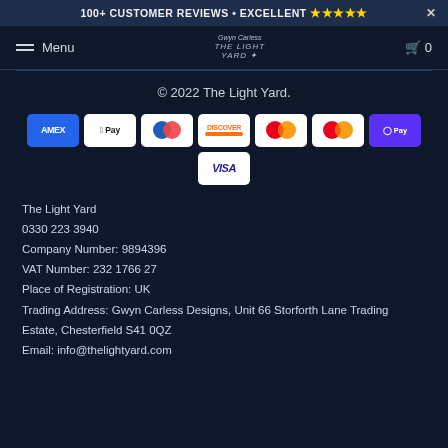100+ CUSTOMER REVIEWS • EXCELLENT ★★★★★
Menu  [logo: Gwyn Carless The Light Yard]  🛒 0
© 2022 The Light Yard.
[Figure (other): Payment method icons: AMEX, Apple Pay, Diners Club, Discover, two Mastercard variants, Shopify Pay, Visa]
The Light Yard
0330 223 3940
Company Number: 9894396
VAT Number: 232 1766 27
Place of Registration: UK
Trading Address: Gwyn Carless Designs, Unit 66 Storforth Lane Trading Estate, Chesterfield S41 0QZ
Email: info@thelightyard.com